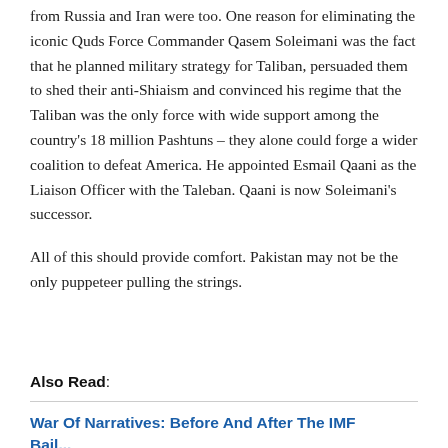from Russia and Iran were too. One reason for eliminating the iconic Quds Force Commander Qasem Soleimani was the fact that he planned military strategy for Taliban, persuaded them to shed their anti-Shiaism and convinced his regime that the Taliban was the only force with wide support among the country's 18 million Pashtuns – they alone could forge a wider coalition to defeat America. He appointed Esmail Qaani as the Liaison Officer with the Taleban. Qaani is now Soleimani's successor.
All of this should provide comfort. Pakistan may not be the only puppeteer pulling the strings.
Also Read:
War Of Narratives: Before And After The IMF Bail...